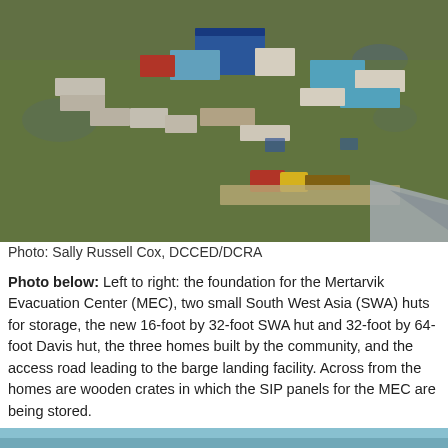[Figure (photo): Aerial photograph of a small community with buildings, trailers, and vehicles on green tundra landscape, taken from an aircraft.]
Photo: Sally Russell Cox, DCCED/DCRA
Photo below: Left to right: the foundation for the Mertarvik Evacuation Center (MEC), two small South West Asia (SWA) huts for storage, the new 16-foot by 32-foot SWA hut and 32-foot by 64-foot Davis hut, the three homes built by the community, and the access road leading to the barge landing facility. Across from the homes are wooden crates in which the SIP panels for the MEC are being stored.
[Figure (photo): Partial view of a second photo at the bottom of the page, mostly cropped.]